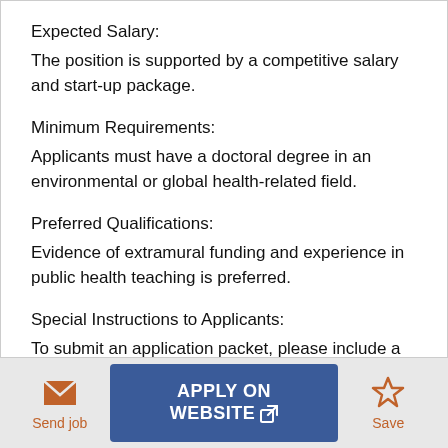Expected Salary:
The position is supported by a competitive salary and start-up package.
Minimum Requirements:
Applicants must have a doctoral degree in an environmental or global health-related field.
Preferred Qualifications:
Evidence of extramural funding and experience in public health teaching is preferred.
Special Instructions to Applicants:
To submit an application packet, please include a CV,
Send job | APPLY ON WEBSITE | Save